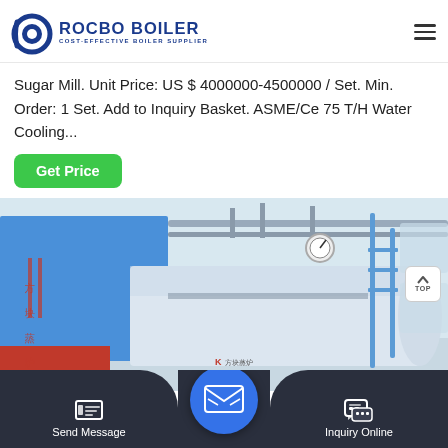[Figure (logo): Rocbo Boiler logo with circular arc graphic and text 'ROCBO BOILER - COST-EFFECTIVE BOILER SUPPLIER']
Sugar Mill. Unit Price: US $ 4000000-4500000 / Set. Min. Order: 1 Set. Add to Inquiry Basket. ASME/Ce 75 T/H Water Cooling...
[Figure (photo): Industrial boiler installation showing large blue cylindrical boiler with pipes and gauges in a white industrial facility]
Get Price
Send Message
Inquiry Online